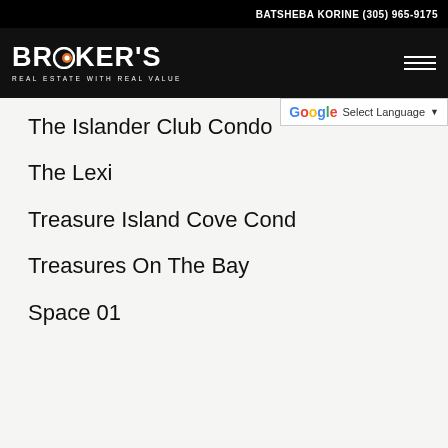BATSHEBA KORINE (305) 965-9175
[Figure (logo): Broker's Real Estate With Real Value logo — white text on black background with orange/white circle O]
The Islander Club Condo
The Lexi
Treasure Island Cove Cond
Treasures On The Bay
Space 01